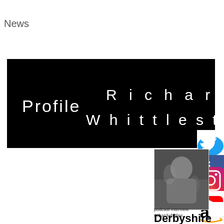News
[Figure (infographic): Black banner with 'Profile' on the left and 'Richard Whittlestone' on the right in white spaced letters]
[Figure (photo): Black and white portrait photo of Richard Whittlestone]
[Figure (infographic): Social media icons: Twitter (blue bird), Facebook (blue f), LinkedIn (blue in), Instagram (gradient camera), YouTube (red play button), Amazon (orange a logo)]
richardwhittles...
podcast interview
Derbyshire